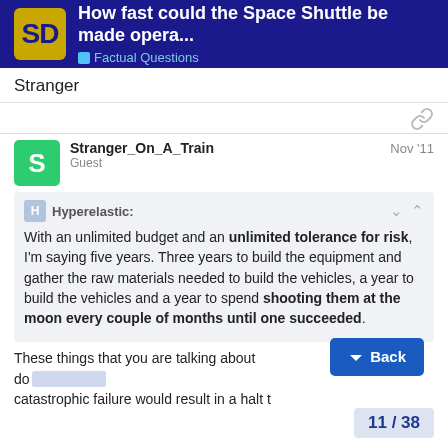SD — How fast could the Space Shuttle be made opera... — Factual Questions
Stranger
Stranger_On_A_Train — Guest — Nov '11
Hyperelastic: With an unlimited budget and an unlimited tolerance for risk, I'm saying five years. Three years to build the equipment and gather the raw materials needed to build the vehicles, a year to build the vehicles and a year to spend shooting them at the moon every couple of months until one succeeded.
These things that you are talking about do... catastrophic failure would result in a halt to...
11 / 38